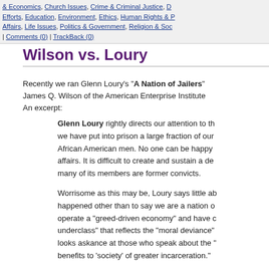& Economics, Church Issues, Crime & Criminal Justice, D... Efforts, Education, Environment, Ethics, Human Rights & P... Affairs, Life Issues, Politics & Government, Religion & Soc... | Comments (0) | TrackBack (0)
Wilson vs. Loury
Recently we ran Glenn Loury's "A Nation of Jailers" ... James Q. Wilson of the American Enterprise Institute... An excerpt:
Glenn Loury rightly directs our attention to th... we have put into prison a large fraction of our... African American men. No one can be happy... affairs. It is difficult to create and sustain a de... many of its members are former convicts.
Worrisome as this may be, Loury says little ab... happened other than to say we are a nation o... operate a "greed-driven economy" and have c... underclass" that reflects the "moral deviance"... looks askance at those who speak about the "... benefits to 'society' of greater incarceration."
I am one of those, and I do not feel inclined to... does not refer to the scholarly work of those s... have worked hard to understand why we impr... people and with what results. Let me summar... Nagin, David Farrington, Patrick Langan, Stev... Willia... Oo... Other thi...